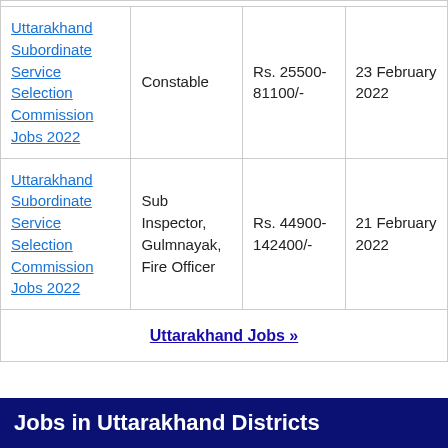| Uttarakhand Subordinate Service Selection Commission Jobs 2022 | Constable | Rs. 25500-81100/- | 23 February 2022 |
| Uttarakhand Subordinate Service Selection Commission Jobs 2022 | Sub Inspector, Gulmnayak, Fire Officer | Rs. 44900-142400/- | 21 February 2022 |
| Uttarakhand Jobs » |  |  |  |
Jobs in Uttarakhand Districts